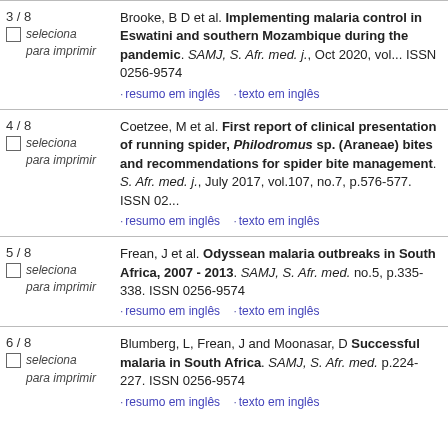3 / 8 — Brooke, B D et al. Implementing malaria control in Eswatini and southern Mozambique during the COVID-19 pandemic. SAMJ, S. Afr. med. j., Oct 2020, vol... ISSN 0256-9574 · resumo em inglês · texto em inglês
4 / 8 — Coetzee, M et al. First report of clinical presentation of running spider, Philodromus sp. (Araneae) bites and recommendations for spider bite management. SAMJ, S. Afr. med. j., July 2017, vol.107, no.7, p.576-577. ISSN 02... · resumo em inglês · texto em inglês
5 / 8 — Frean, J et al. Odyssean malaria outbreaks in South Africa, 2007 - 2013. SAMJ, S. Afr. med... no.5, p.335-338. ISSN 0256-9574 · resumo em inglês · texto em inglês
6 / 8 — Blumberg, L, Frean, J and Moonasar, D Succ... malaria in South Africa. SAMJ, S. Afr. med.... p.224-227. ISSN 0256-9574 · resumo em inglês · texto em inglês